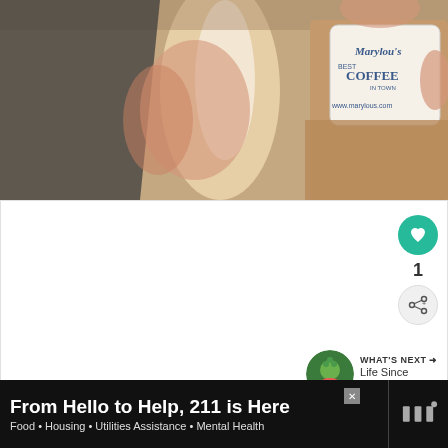[Figure (photo): Person holding a Marylou's Best Coffee cup with website www.marylous.com shown on the cup label]
[Figure (screenshot): Social media post area with like button showing heart icon (green circle), like count of 1, and share button. WHAT'S NEXT arrow with thumbnail of holiday image and text 'Life Since Thanksgivin...']
1
WHAT'S NEXT → Life Since Thanksgivin...
[Figure (infographic): Advertisement banner with black background: 'From Hello to Help, 211 is Here' with subtitle 'Food • Housing • Utilities Assistance • Mental Health' with close button and logo on right]